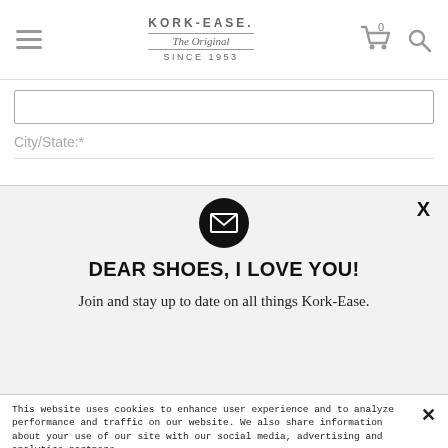KORK-EASE. The Original SINCE 1953
City/State:*
[Figure (screenshot): Email newsletter signup modal with envelope icon, title DEAR SHOES, I LOVE YOU!, and subtitle Join and stay up to date on all things Kork-Ease.]
This website uses cookies to enhance user experience and to analyze performance and traffic on our website. We also share information about your use of our site with our social media, advertising and analytics partners.
View Cookie Settings
Accept Cookies